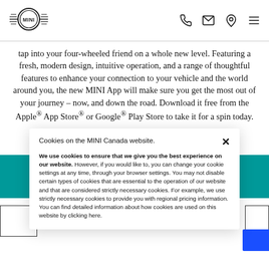[Figure (logo): MINI car brand logo with wings and circular MINI badge]
tap into your four-wheeled friend on a whole new level. Featuring a fresh, modern design, intuitive operation, and a range of thoughtful features to enhance your connection to your vehicle and the world around you, the new MINI App will make sure you get the most out of your journey – now, and down the road. Download it free from the Apple® App Store® or Google® Play Store to take it for a spin today.
Cookies on the MINI Canada website.
We use cookies to ensure that we give you the best experience on our website. However, if you would like to, you can change your cookie settings at any time, through your browser settings. You may not disable certain types of cookies that are essential to the operation of our website and that are considered strictly necessary cookies. For example, we use strictly necessary cookies to provide you with regional pricing information. You can find detailed information about how cookies are used on this website by clicking here.